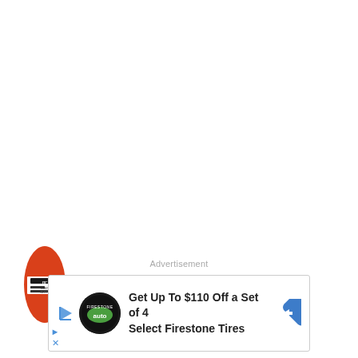[Figure (logo): Red oval/pill shaped logo icon with black and white label design, positioned at left middle area of page]
Advertisement
[Figure (infographic): Advertisement banner: Get Up To $110 Off a Set of 4 Select Firestone Tires, with Firestone auto logo circle, blue play button, and blue diamond arrow icon on right]